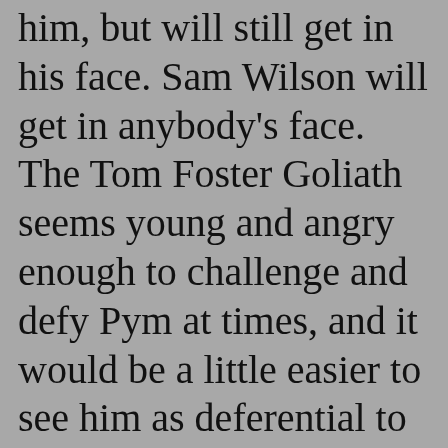him, but will still get in his face. Sam Wilson will get in anybody's face. The Tom Foster Goliath seems young and angry enough to challenge and defy Pym at times, and it would be a little easier to see him as deferential to Pym than Sam. There's also the Beast. On a team that had the Black Panther, Tony Stark, and Hank Pym, I remember Hank McCoy could get pretty annoyed and